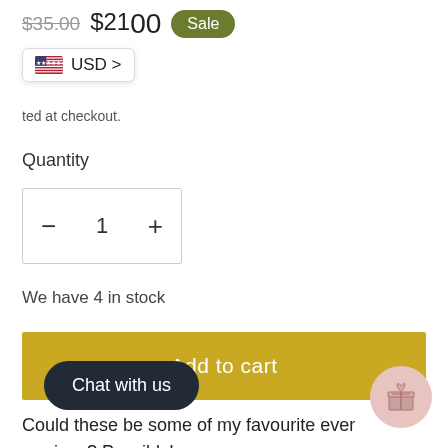$35.00  $21.00  Sale
[Figure (screenshot): USD currency selector pill with US flag icon and 'USD >' text]
ted at checkout.
Quantity
[Figure (other): Quantity selector box with minus button, value 1, and plus button]
We have 4 in stock
Add to cart
Could these be some of my favourite ever earrings? Possibly!
I [t...] se to look like one of m[y] favourite stones from my days as a
[Figure (other): Chat with us dark pill button overlay]
[Figure (other): Gift/reward pink circular button overlay]